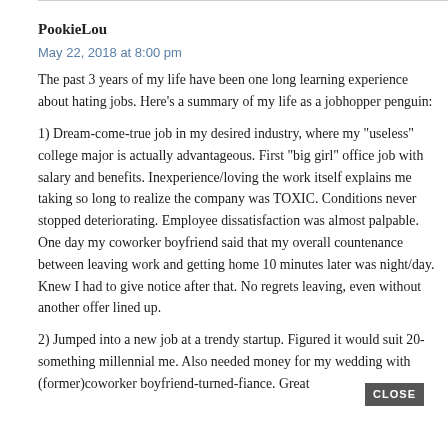PookieLou
May 22, 2018 at 8:00 pm
The past 3 years of my life have been one long learning experience about hating jobs. Here’s a summary of my life as a jobhopper penguin:
1) Dream-come-true job in my desired industry, where my “useless” college major is actually advantageous. First “big girl” office job with salary and benefits. Inexperience/loving the work itself explains me taking so long to realize the company was TOXIC. Conditions never stopped deteriorating. Employee dissatisfaction was almost palpable. One day my coworker boyfriend said that my overall countenance between leaving work and getting home 10 minutes later was night/day. Knew I had to give notice after that. No regrets leaving, even without another offer lined up.
2) Jumped into a new job at a trendy startup. Figured it would suit 20-something millennial me. Also needed money for my wedding with (former)coworker boyfriend-turned-fiance. Great